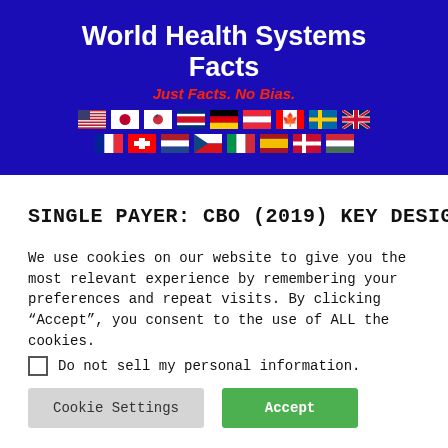World Health Systems Facts
Just Facts. No Bias.
SINGLE PAYER: CBO (2019) KEY DESIGN
We use cookies on our website to give you the most relevant experience by remembering your preferences and repeat visits. By clicking “Accept”, you consent to the use of ALL the cookies.
Do not sell my personal information.
Cookie Settings   Accept